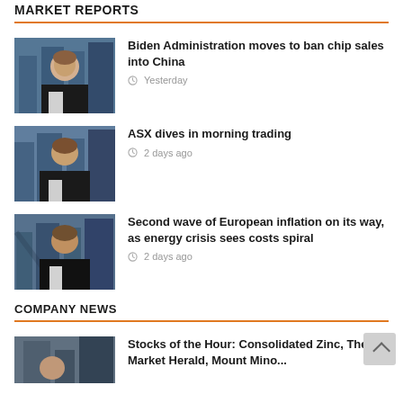MARKET REPORTS
Biden Administration moves to ban chip sales into China · Yesterday
ASX dives in morning trading · 2 days ago
Second wave of European inflation on its way, as energy crisis sees costs spiral · 2 days ago
COMPANY NEWS
Stocks of the Hour: Consolidated Zinc, The Market Herald, Mount Mino...